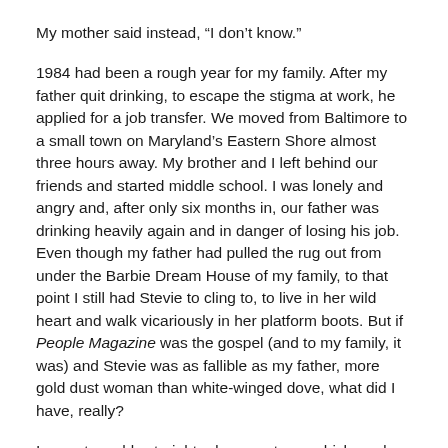My mother said instead, “I don’t know.”
1984 had been a rough year for my family. After my father quit drinking, to escape the stigma at work, he applied for a job transfer. We moved from Baltimore to a small town on Maryland’s Eastern Shore almost three hours away. My brother and I left behind our friends and started middle school. I was lonely and angry and, after only six months in, our father was drinking heavily again and in danger of losing his job. Even though my father had pulled the rug out from under the Barbie Dream House of my family, to that point I still had Stevie to cling to, to live in her wild heart and walk vicariously in her platform boots. But if People Magazine was the gospel (and to my family, it was) and Stevie was as fallible as my father, more gold dust woman than white-winged dove, what did I have, really?
I was staunchly straight edge as a teen, which made Stevie’s addiction all the more painful. I’d seen the first-hand the effects of alcoholism. Although I didn’t understand the mechanism of disease, I knew that it made my father do selfish and dangerous things. He drove drunk all the time, even colliding with a telephone pole half a mile from our house on his way home (thankfully, he was the only passenger and walked away